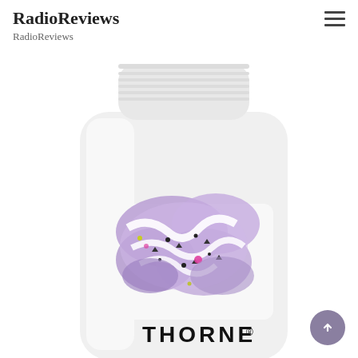RadioReviews
RadioReviews
[Figure (photo): White plastic supplement bottle with a white ribbed cap and an abstract marbled purple, black, white, and pink label design. The bottle shows the THORNE brand name at the bottom of the label. The bottle is photographed against a white background.]